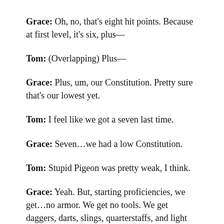Grace: Oh, no, that's eight hit points. Because at first level, it's six, plus—
Tom: (Overlapping) Plus—
Grace: Plus, um, our Constitution. Pretty sure that's our lowest yet.
Tom: I feel like we got a seven last time.
Grace: Seven…we had a low Constitution.
Tom: Stupid Pigeon was pretty weak, I think.
Grace: Yeah. But, starting proficiencies, we get…no armor. We get no tools. We get daggers, darts, slings, quarterstaffs, and light crossbows as proficiencies. So